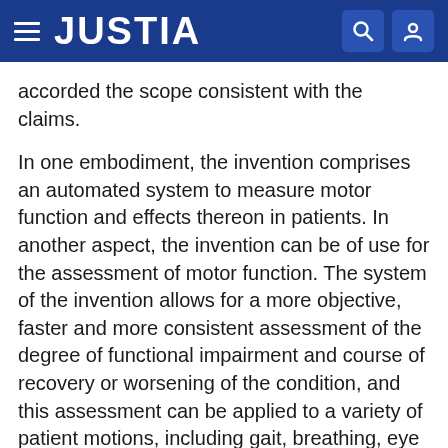JUSTIA
accorded the scope consistent with the claims.
In one embodiment, the invention comprises an automated system to measure motor function and effects thereon in patients. In another aspect, the invention can be of use for the assessment of motor function. The system of the invention allows for a more objective, faster and more consistent assessment of the degree of functional impairment and course of recovery or worsening of the condition, and this assessment can be applied to a variety of patient motions, including gait, breathing, eye movement, eye focus, tremors, and limb and coordinated appendage movement, and combinations thereof.
In one embodiment, the system has a resolution, and can detect movement, such as displacement, or motion